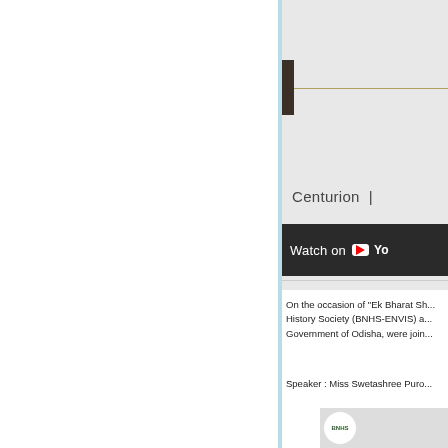[Figure (screenshot): Partial screenshot of a YouTube video thumbnail showing a dark decorative bar, a horizontal line, text reading 'Centurion' and a 'Watch on YouTube' bar at the bottom. The video appears to be cut off on the right side.]
On the occasion of "Ek Bharat Sh... History Society (BNHS-ENVIS) a... Government of Odisha, were join...
Speaker : Miss Swetashree Puro...
[Figure (screenshot): Partial BNHS logo/thumbnail at bottom of page]